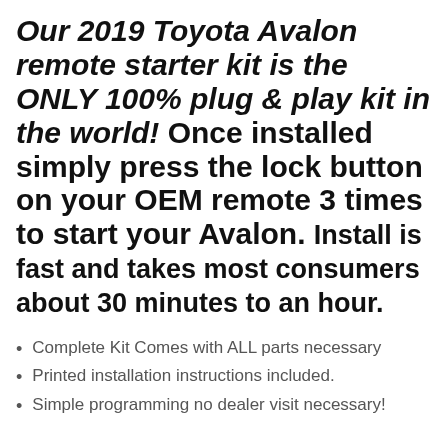Our 2019 Toyota Avalon remote starter kit is the ONLY 100% plug & play kit in the world! Once installed simply press the lock button on your OEM remote 3 times to start your Avalon. Install is fast and takes most consumers about 30 minutes to an hour.
Complete Kit Comes with ALL parts necessary
Printed installation instructions included.
Simple programming no dealer visit necessary!